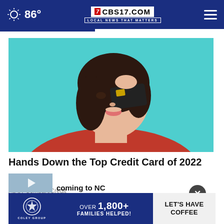86° CBS17.COM LOCAL NEWS THAT MATTERS
[Figure (photo): Young woman with dark hair holding a black credit card over one eye against a teal background, wearing a red top.]
Hands Down the Top Credit Card of 2022
Ad by CompareCredit
MORE STORIES
[Figure (photo): Partial thumbnail image for a news story at the bottom of the page.]
coming to NC
[Figure (infographic): Bottom banner advertisement for Coley Group: OVER 1,800+ FAMILIES HELPED! LET'S HAVE COFFEE]